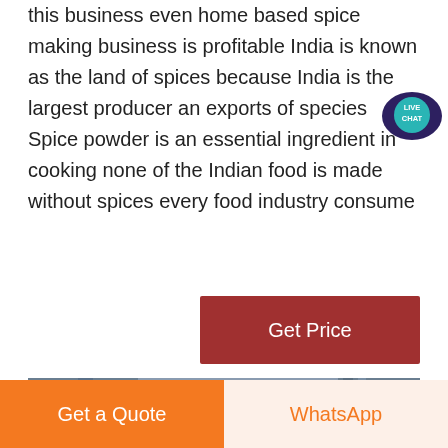this business even home based spice making business is profitable India is known as the land of spices because India is the largest producer and exports of species Spice powder is an essential ingredient in cooking none of the Indian food is made without spices every food industry consume
[Figure (photo): Live Chat speech bubble icon with teal/dark blue color and white text reading LIVE CHAT]
[Figure (other): Red button labeled Get Price on dark red background]
[Figure (photo): Industrial spice milling machine equipment in a factory setting, showing large cylindrical metal grinder with red motor component and metal piping/scaffolding]
Get a Quote
WhatsApp